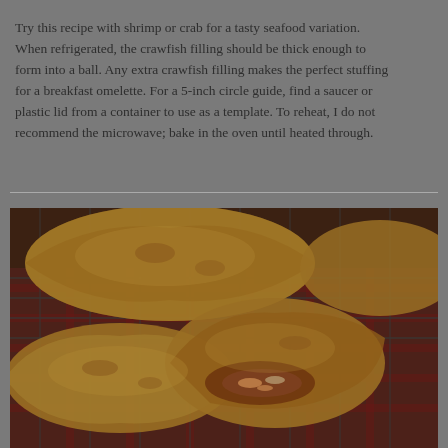Try this recipe with shrimp or crab for a tasty seafood variation. When refrigerated, the crawfish filling should be thick enough to form into a ball. Any extra crawfish filling makes the perfect stuffing for a breakfast omelette. For a 5-inch circle guide, find a saucer or plastic lid from a container to use as a template. To reheat, I do not recommend the microwave; bake in the oven until heated through.
[Figure (photo): Photo of golden-brown baked crawfish hand pies (empanada-style) on a cooling rack with a checkered cloth underneath. One pie is split open showing the crawfish filling inside.]